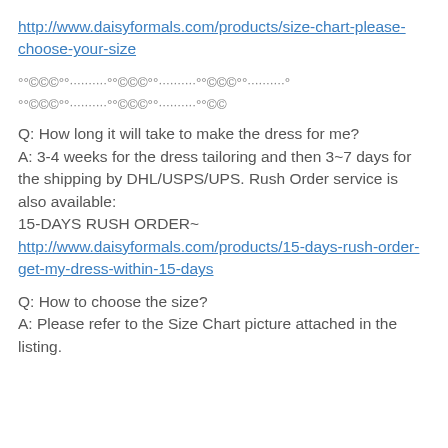http://www.daisyformals.com/products/size-chart-please-choose-your-size
°°©©©°°··········°°©©©°°··········°°©©©°°··········° °°©©©°°··········°°©©©°°··········°°©©
Q: How long it will take to make the dress for me?
A: 3-4 weeks for the dress tailoring and then 3~7 days for the shipping by DHL/USPS/UPS. Rush Order service is also available:
15-DAYS RUSH ORDER~
http://www.daisyformals.com/products/15-days-rush-order-get-my-dress-within-15-days
Q: How to choose the size?
A: Please refer to the Size Chart picture attached in the listing.